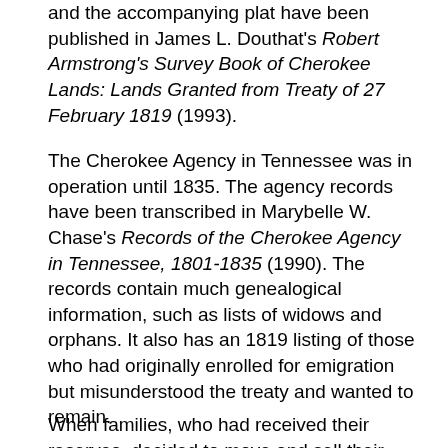and the accompanying plat have been published in James L. Douthat's Robert Armstrong's Survey Book of Cherokee Lands: Lands Granted from Treaty of 27 February 1819 (1993).
The Cherokee Agency in Tennessee was in operation until 1835. The agency records have been transcribed in Marybelle W. Chase's Records of the Cherokee Agency in Tennessee, 1801-1835 (1990). The records contain much genealogical information, such as lists of widows and orphans. It also has an 1819 listing of those who had originally enrolled for emigration but misunderstood the treaty and wanted to remain.
When families, who had received their reserves, decided to move and sell their land, the